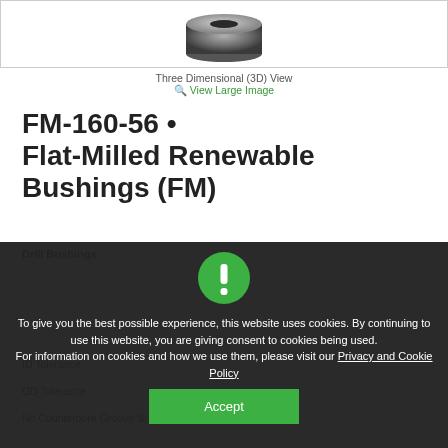[Figure (photo): 3D product image of a Flat-Milled Renewable Bushing (FM), dark metallic cylindrical component viewed from top angle]
Three Dimensional (3D) View
Q View Large Image
FM-160-56  •  Flat-Milled Renewable Bushings (FM)
Drill Bushings
ID Tolerance
OD Tolerance
No Counterbore Groove S...
To give you the best possible experience, this website uses cookies. By continuing to use this website, you are giving consent to cookies being used.
For information on cookies and how we use them, please visit our Privacy and Cookie Policy
Accept